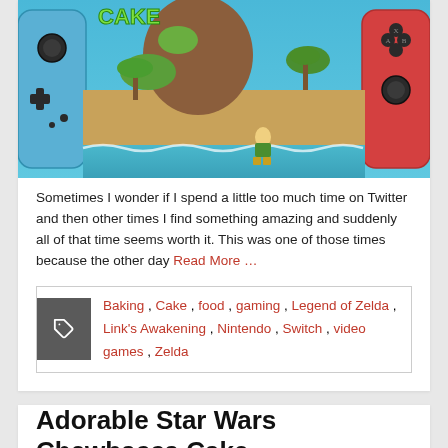[Figure (photo): Photo of a Nintendo Switch themed cake with Link's Awakening scene — blue and red Joy-Con controllers on sides, sandy beach with Link character, green palm trees, brown mountain, and ocean waves in fondant]
Sometimes I wonder if I spend a little too much time on Twitter and then other times I find something amazing and suddenly all of that time seems worth it. This was one of those times because the other day Read More …
Baking , Cake , food , gaming , Legend of Zelda , Link's Awakening , Nintendo , Switch , video games , Zelda
Adorable Star Wars Chewbacca Cake
July 16, 2019   pcnerd37   0 Comments   food, scifi